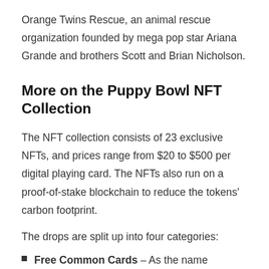Orange Twins Rescue, an animal rescue organization founded by mega pop star Ariana Grande and brothers Scott and Brian Nicholson.
More on the Puppy Bowl NFT Collection
The NFT collection consists of 23 exclusive NFTs, and prices range from $20 to $500 per digital playing card. The NFTs also run on a proof-of-stake blockchain to reduce the tokens' carbon footprint.
The drops are split up into four categories:
Free Common Cards – As the name suggests, this set was free and kicked off the collection